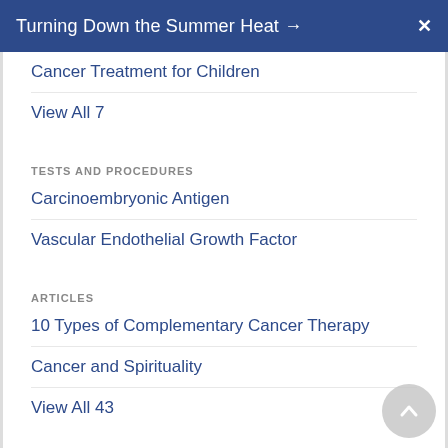Turning Down the Summer Heat →  X
Cancer Treatment for Children
View All 7
TESTS AND PROCEDURES
Carcinoembryonic Antigen
Vascular Endothelial Growth Factor
ARTICLES
10 Types of Complementary Cancer Therapy
Cancer and Spirituality
View All 43
NEWS
1 in 7 Cancer Patients Worldwide Missed a Surgery Due to Pandemic